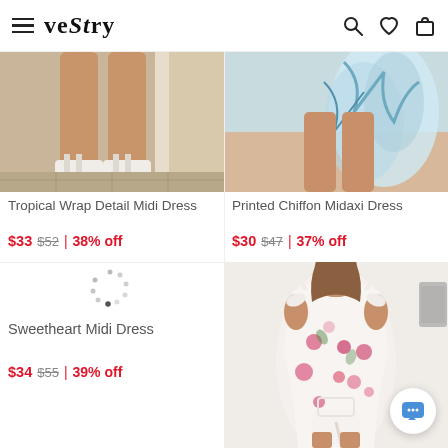VESTRY
[Figure (photo): Cropped photo showing legs of a woman wearing white heeled sandals, standing on a tiled doorstep. Product: Tropical Wrap Detail Midi Dress.]
Tropical Wrap Detail Midi Dress
$33 $52 | 38% off
[Figure (photo): Cropped photo showing a woman holding a flowing printed chiffon midaxi dress in blue/white tones outdoors. Product: Printed Chiffon Midaxi Dress.]
Printed Chiffon Midaxi Dress
$30 $47 | 37% off
[Figure (other): Loading spinner dots circle indicator]
Sweetheart Midi Dress
$34 $55 | 39% off
[Figure (photo): Woman in a white and pink floral midi dress with tie-shoulder straps and slit, holding a white bag, standing against a white wall. Product photo for Sweetheart Midi Dress.]